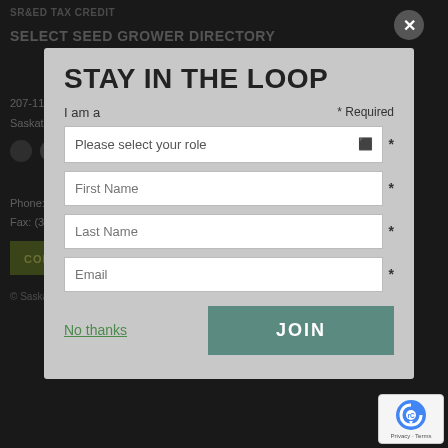SR&ED TAX CREDIT
SELECT SEED GROWER DIRECTORY
207-116 Research Drive
Saskatoon, Saskatchewan S7N 3R3
Phone: (306) 668-5556
Fax: (306)...7
CONTACT US
© Saskatchewan Pulse Growers 2022
STAY IN THE LOOP
I am a
* Required
Please select your role
First Name
Last Name
Email
No thanks
JOIN